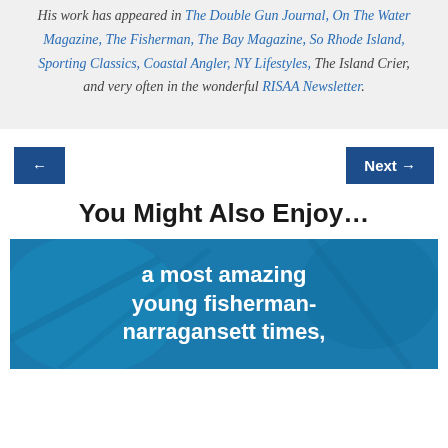His work has appeared in The Double Gun Journal, On The Water Magazine, The Fisherman, The Bay Magazine, So Rhode Island, Sporting Classics, Coastal Angler, NY Lifestyles, The Island Crier, and very often in the wonderful RISAA Newsletter.
← | Next →
You Might Also Enjoy…
[Figure (illustration): Blue promotional image with text: 'a most amazing young fisherman-narragansett times,']